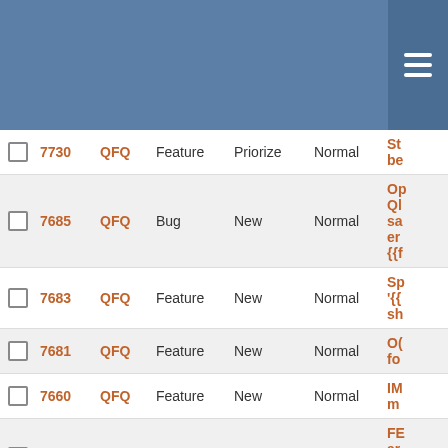|  | ID | Project | Type | Status | Priority | Subject |
| --- | --- | --- | --- | --- | --- | --- |
|  | 7730 | QFQ | Feature | Priorize | Normal | S... be... |
|  | 7685 | QFQ | Bug | New | Normal | O... Ql... sa... er... {{f... |
|  | 7683 | QFQ | Feature | New | Normal | Sp... '{{ sh... |
|  | 7681 | QFQ | Feature | New | Normal | O... fo... |
|  | 7660 | QFQ | Feature | New | Normal | IM m... |
|  | 7656 | QFQ | Bug | Priorize | Normal | FE ar... al... m... |
|  | 7630 | QFQ | Feature | Priorize | Normal | de fo... |
|  | 7616 | QFQ | Bug | Priorize | Normal | Se Dy... |